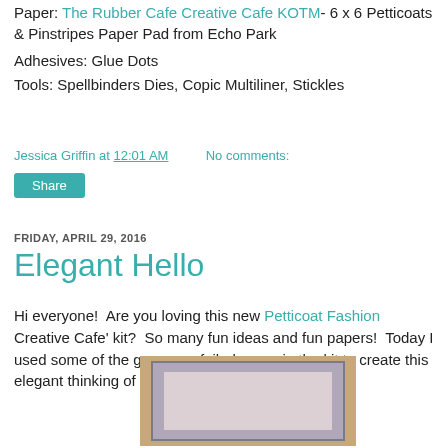Paper: The Rubber Cafe Creative Cafe KOTM- 6 x 6 Petticoats & Pinstripes Paper Pad from Echo Park
Adhesives: Glue Dots
Tools: Spellbinders Dies, Copic Multiliner, Stickles
Jessica Griffin at 12:01 AM   No comments:
Share
FRIDAY, APRIL 29, 2016
Elegant Hello
Hi everyone!  Are you loving this new Petticoat Fashion Creative Cafe' kit?  So many fun ideas and fun papers!  Today I used some of the gorgeous foiled paper in the kit to create this elegant thinking of you card:
[Figure (photo): Photo of a handmade greeting card with brown/tan background and pink/mauve center panel]